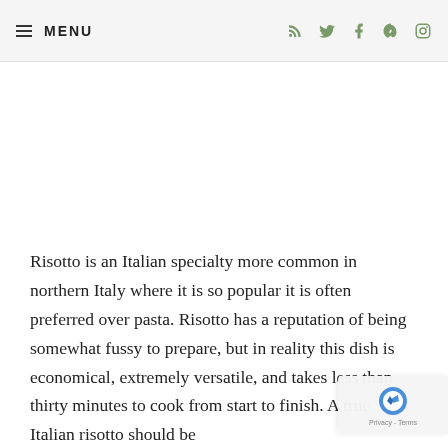≡ MENU
Risotto is an Italian specialty more common in northern Italy where it is so popular it is often preferred over pasta. Risotto has a reputation of being somewhat fussy to prepare, but in reality this dish is economical, extremely versatile, and takes less than thirty minutes to cook from start to finish. A true Italian risotto should be